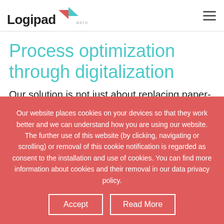[Figure (logo): Logipad aero logo with red and teal arrow graphic]
Process optimization through digitalization
Our solution is not just about replacing paper-based briefings; it is a matter of managing processes in an
Our website places cookies on your devices so that they work better and we can understand how you are using our website. The further use of this website (by clicking, navigating or scrolling) or removal of this cookie notification is regarded as consent to the installation and use of cookies. You can find more information about cookies and their removal in our data privacy policy.
Accept
Read More